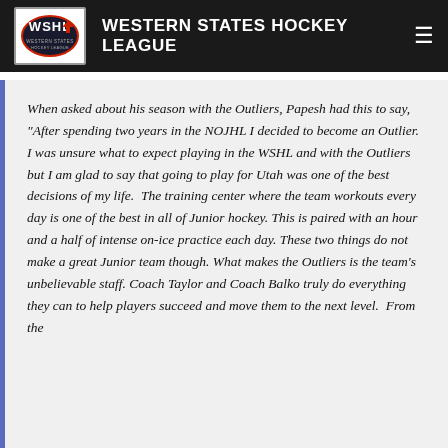WESTERN STATES HOCKEY LEAGUE
When asked about his season with the Outliers, Papesh had this to say, "After spending two years in the NOJHL I decided to become an Outlier. I was unsure what to expect playing in the WSHL and with the Outliers but I am glad to say that going to play for Utah was one of the best decisions of my life.  The training center where the team workouts every day is one of the best in all of Junior hockey. This is paired with an hour and a half of intense on-ice practice each day. These two things do not make a great Junior team though. What makes the Outliers is the team's unbelievable staff. Coach Taylor and Coach Balko truly do everything they can to help players succeed and move them to the next level.  From the...